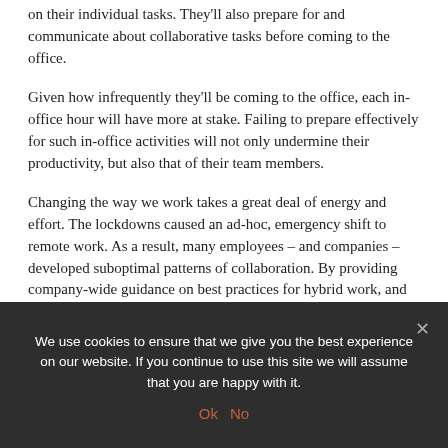on their individual tasks. They'll also prepare for and communicate about collaborative tasks before coming to the office.
Given how infrequently they'll be coming to the office, each in-office hour will have more at stake. Failing to prepare effectively for such in-office activities will not only undermine their productivity, but also that of their team members.
Changing the way we work takes a great deal of energy and effort. The lockdowns caused an ad-hoc, emergency shift to remote work. As a result, many employees – and companies – developed suboptimal patterns of collaboration. By providing company-wide guidance on best practices for hybrid work, and training your employees on doing so, you'll help upskill them and thus set them up for success for your new permanent set-up.
We use cookies to ensure that we give you the best experience on our website. If you continue to use this site we will assume that you are happy with it.